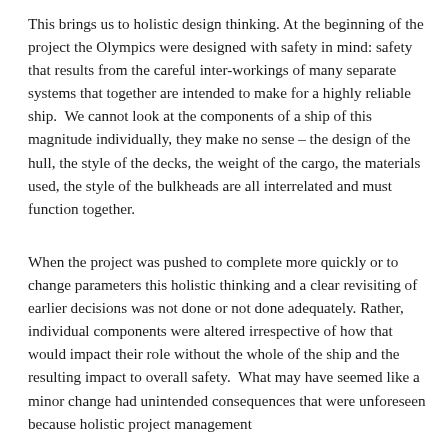This brings us to holistic design thinking. At the beginning of the project the Olympics were designed with safety in mind: safety that results from the careful inter-workings of many separate systems that together are intended to make for a highly reliable ship.  We cannot look at the components of a ship of this magnitude individually, they make no sense – the design of the hull, the style of the decks, the weight of the cargo, the materials used, the style of the bulkheads are all interrelated and must function together.
When the project was pushed to complete more quickly or to change parameters this holistic thinking and a clear revisiting of earlier decisions was not done or not done adequately. Rather, individual components were altered irrespective of how that would impact their role without the whole of the ship and the resulting impact to overall safety.  What may have seemed like a minor change had unintended consequences that were unforeseen because holistic project management